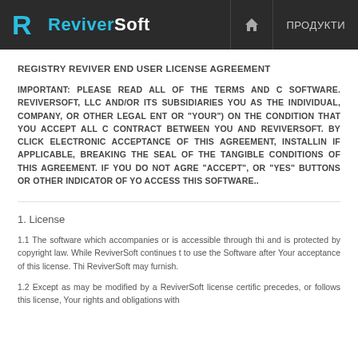ReviverSoft — ПРОДУКТИ
REGISTRY REVIVER END USER LICENSE AGREEMENT
IMPORTANT: PLEASE READ ALL OF THE TERMS AND C... SOFTWARE. REVIVERSOFT, LLC AND/OR ITS SUBSIDIARIES... YOU AS THE INDIVIDUAL, COMPANY, OR OTHER LEGAL ENT... OR "YOUR") ON THE CONDITION THAT YOU ACCEPT ALL C... CONTRACT BETWEEN YOU AND REVIVERSOFT. BY CLICK... ELECTRONIC ACCEPTANCE OF THIS AGREEMENT, INSTALLIN... IF APPLICABLE, BREAKING THE SEAL OF THE TANGIBLE... CONDITIONS OF THIS AGREEMENT. IF YOU DO NOT AGRE... "ACCEPT", OR "YES" BUTTONS OR OTHER INDICATOR OF YO... ACCESS THIS SOFTWARE..
1. License
1.1 The software which accompanies or is accessible through thi... and is protected by copyright law. While ReviverSoft continues t... to use the Software after Your acceptance of this license. Thi... ReviverSoft may furnish.
1.2 Except as may be modified by a ReviverSoft license certific... precedes, or follows this license, Your rights and obligations with...